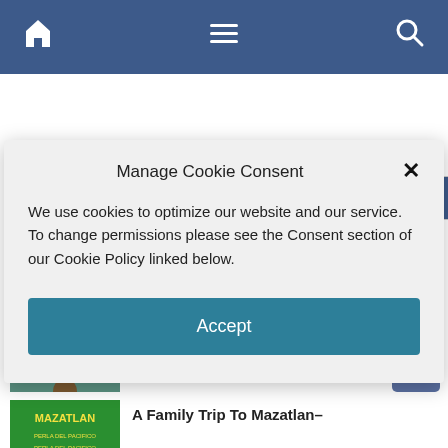[Figure (screenshot): Website navigation bar with home icon, hamburger menu, and search icon on dark blue background]
[Figure (screenshot): Search bar with placeholder text 'Search ...' and a blue Search button]
Manage Cookie Consent
We use cookies to optimize our website and our service. To change permissions please see the Consent section of our Cookie Policy linked below.
Accept
Mexico This Month – August
A Family Trip To Mazatlan–